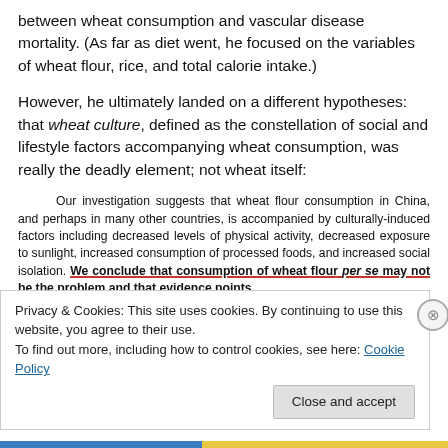between wheat consumption and vascular disease mortality. (As far as diet went, he focused on the variables of wheat flour, rice, and total calorie intake.)
However, he ultimately landed on a different hypotheses: that wheat culture, defined as the constellation of social and lifestyle factors accompanying wheat consumption, was really the deadly element; not wheat itself:
Our investigation suggests that wheat flour consumption in China, and perhaps in many other countries, is accompanied by culturally-induced factors including decreased levels of physical activity, decreased exposure to sunlight, increased consumption of processed foods, and increased social isolation. We conclude that consumption of wheat flour per se may not be the problem and that evidence points
Privacy & Cookies: This site uses cookies. By continuing to use this website, you agree to their use. To find out more, including how to control cookies, see here: Cookie Policy